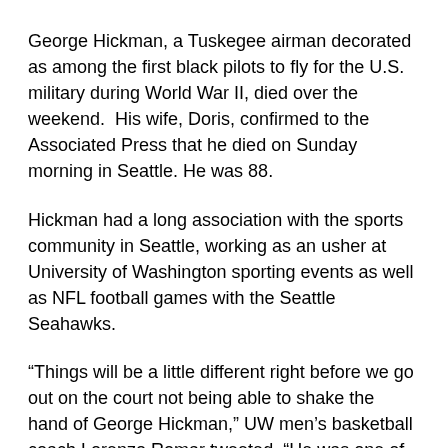George Hickman, a Tuskegee airman decorated as among the first black pilots to fly for the U.S. military during World War II, died over the weekend.  His wife, Doris, confirmed to the Associated Press that he died on Sunday morning in Seattle. He was 88.
Hickman had a long association with the sports community in Seattle, working as an usher at University of Washington sporting events as well as NFL football games with the Seattle Seahawks.
“Things will be a little different right before we go out on the court not being able to shake the hand of George Hickman,” UW men’s basketball coach Lorenzo Romar tweeted. “He was one of the most inspirational men that I have ever met.”
“George Hickman will be missed. He